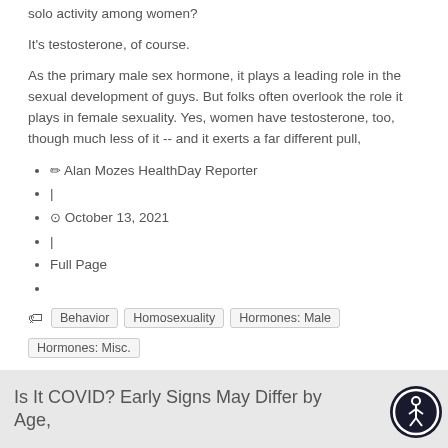solo activity among women?
It's testosterone, of course.
As the primary male sex hormone, it plays a leading role in the sexual development of guys. But folks often overlook the role it plays in female sexuality. Yes, women have testosterone, too, though much less of it -- and it exerts a far different pull,
✏ Alan Mozes HealthDay Reporter
|
⊙ October 13, 2021
|
Full Page
Behavior  Homosexuality  Hormones: Male  Hormones: Misc.
Is It COVID? Early Signs May Differ by Age,